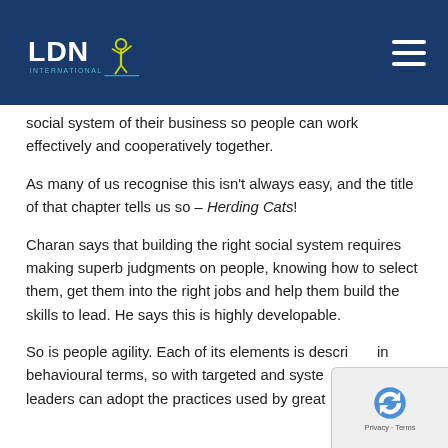LDN International
social system of their business so people can work effectively and cooperatively together.
As many of us recognise this isn't always easy, and the title of that chapter tells us so – Herding Cats!
Charan says that building the right social system requires making superb judgments on people, knowing how to select them, get them into the right jobs and help them build the skills to lead. He says this is highly developable.
So is people agility. Each of its elements is described in behavioural terms, so with targeted and systematic efforts leaders can adopt the practices used by great